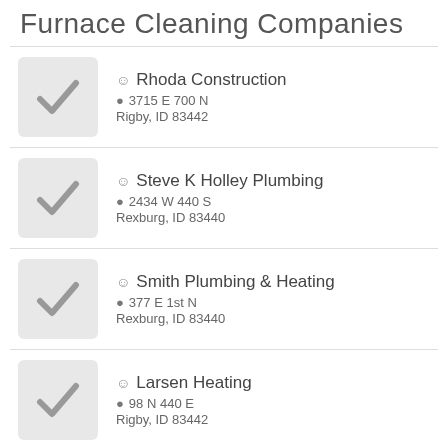Furnace Cleaning Companies
Rhoda Construction, 3715 E 700 N, Rigby, ID 83442
Steve K Holley Plumbing, 2434 W 440 S, Rexburg, ID 83440
Smith Plumbing & Heating, 377 E 1st N, Rexburg, ID 83440
Larsen Heating, 98 N 440 E, Rigby, ID 83442